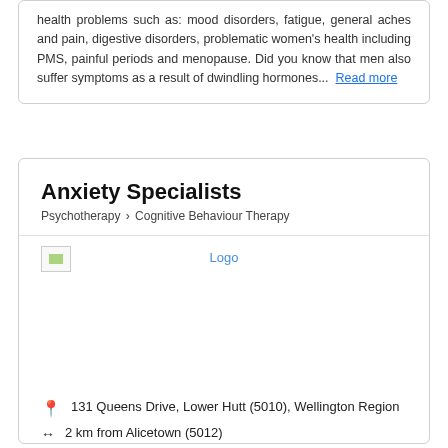health problems such as: mood disorders, fatigue, general aches and pain, digestive disorders, problematic women's health including PMS, painful periods and menopause. Did you know that men also suffer symptoms as a result of dwindling hormones... Read more
Anxiety Specialists
Psychotherapy > Cognitive Behaviour Therapy
[Figure (logo): Broken image placeholder with 'Logo' text label in blue]
131 Queens Drive, Lower Hutt (5010), Wellington Region
2 km from Alicetown (5012)
✉ Quote   📅 Booking